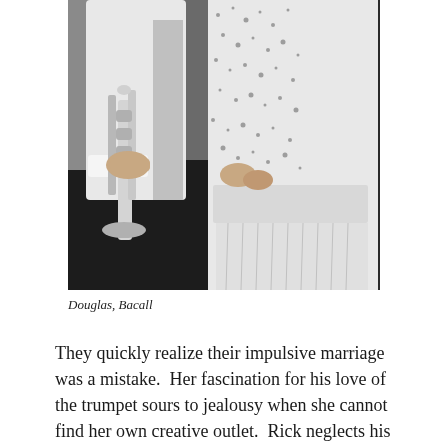[Figure (photo): Black and white photograph showing two people close together. On the left, a man in a white shirt holds a trumpet. On the right, a woman in a speckled/polka-dot dress with a light-colored sash or belt stands beside him.]
Douglas, Bacall
They quickly realize their impulsive marriage was a mistake.  Her fascination for his love of the trumpet sours to jealousy when she cannot find her own creative outlet.  Rick neglects his friends and jazz playing for Amy and eventually resents her for it.